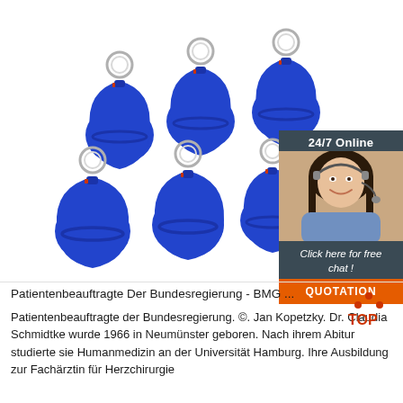[Figure (photo): Six blue RFID key fobs with metal keyrings arranged in two rows of three on a white background. Each fob is teardrop-shaped and blue with a horizontal indented stripe.]
[Figure (infographic): 24/7 Online chat widget with dark teal/slate background. Shows a smiling female customer service agent with headset. Text reads '24/7 Online', 'Click here for free chat!', and an orange button labeled 'QUOTATION'.]
Patientenbeauftragte Der Bundesregierung - BMG ...
[Figure (logo): Orange/red TOP logo in upper right corner of text section — triangle of dots above 'TOP' text.]
Patientenbeauftragte der Bundesregierung. ©. Jan Kopetzky. Dr. Claudia Schmidtke wurde 1966 in Neumünster geboren. Nach ihrem Abitur studierte sie Humanmedizin an der Universität Hamburg. Ihre Ausbildung zur Fachärztin für Herzchirurgie...